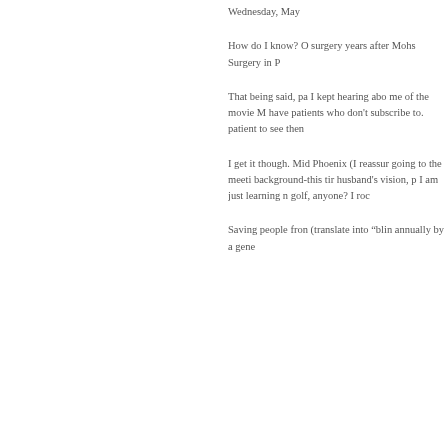Wednesday, May
How do I know? O surgery years after Mohs Surgery in P
That being said, pa I kept hearing abo me of the movie M have patients who don't subscribe to. patient to see then
I get it though. Mid Phoenix (I reassur going to the meeti background-this tir husband's vision, p I am just learning n golf, anyone? I roc
Saving people fron (translate into "blin annually by a gene